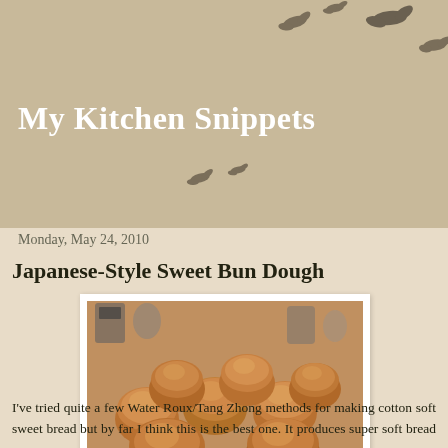My Kitchen Snippets
Monday, May 24, 2010
Japanese-Style Sweet Bun Dough
[Figure (photo): Golden brown Japanese sweet buns cooling on a wire rack, with kitchen appliances visible in the background]
I've tried quite a few Water Roux/Tang Zhong methods for making cotton soft sweet bread but by far I think this is the best one. It produces super soft bread and I stay that way for